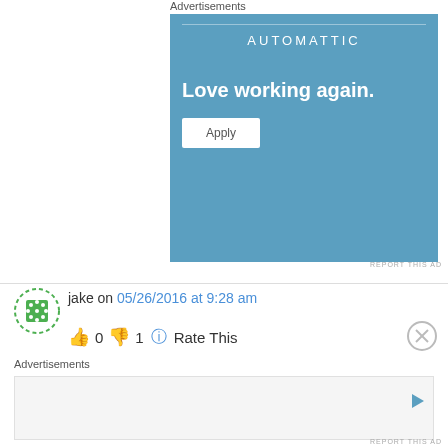Advertisements
[Figure (other): Automattic advertisement banner with blue background, logo text 'AUTOMATTIC', tagline 'Love working again.' and an Apply button]
REPORT THIS AD
jake on 05/26/2016 at 9:28 am
👍 0 👎 1 ℹ Rate This
Advertisements
[Figure (other): Empty advertisement banner area with a play/arrow button icon on the right]
REPORT THIS AD